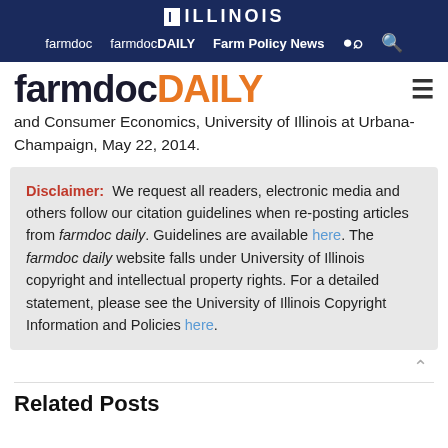ILLINOIS — farmdoc  farmdocDAILY  Farm Policy News
farmdocDAILY
and Consumer Economics, University of Illinois at Urbana-Champaign, May 22, 2014.
Disclaimer: We request all readers, electronic media and others follow our citation guidelines when re-posting articles from farmdoc daily. Guidelines are available here. The farmdoc daily website falls under University of Illinois copyright and intellectual property rights. For a detailed statement, please see the University of Illinois Copyright Information and Policies here.
Related Posts